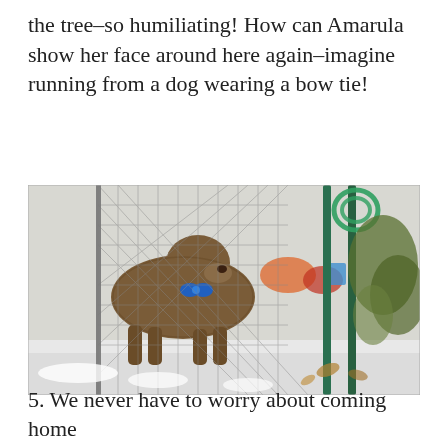the tree–so humiliating! How can Amarula show her face around here again–imagine running from a dog wearing a bow tie!
[Figure (photo): A shaggy brown dog wearing a blue bow tie standing in a chain-link fence enclosure with snow on the ground and green garden hose/plants visible on the right side.]
5.  We never have to worry about coming home